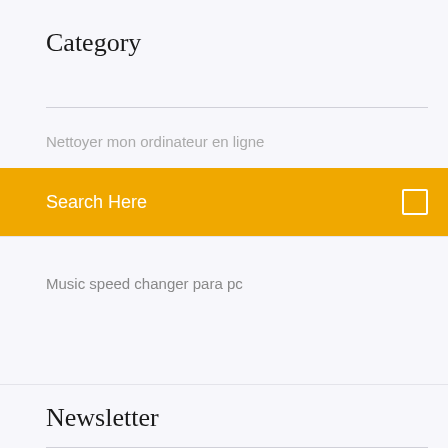Category
Nettoyer mon ordinateur en ligne
Search Here
Music speed changer para pc
Newsletter